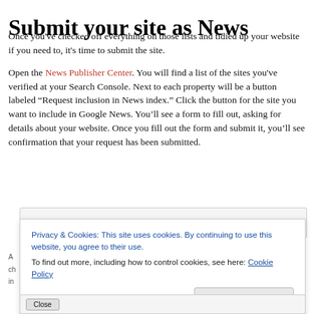Submit your site as News
Once you've checked off everything on those lists and tidied up your website if you need to, it's time to submit the site.
Open the News Publisher Center. You will find a list of the sites you've verified at your Search Console. Next to each property will be a button labeled “Request inclusion in News index.” Click the button for the site you want to include in Google News. You'll see a form to fill out, asking for details about your website. Once you fill out the form and submit it, you'll see confirmation that your request has been submitted.
[Figure (screenshot): Screenshot of a web interface partially visible behind a cookie consent overlay]
Privacy & Cookies: This site uses cookies. By continuing to use this website, you agree to their use.
To find out more, including how to control cookies, see here: Cookie Policy
Close and accept